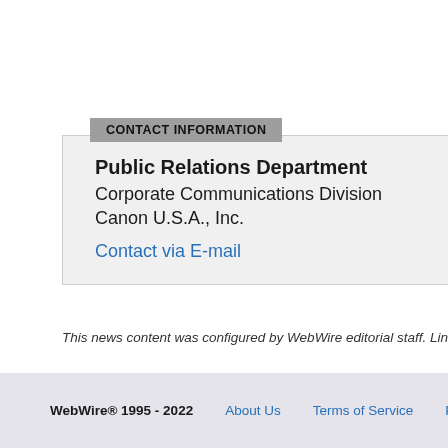CONTACT INFORMATION
Public Relations Department
Corporate Communications Division
Canon U.S.A., Inc.
Contact via E-mail
This news content was configured by WebWire editorial staff. Linking i
News Release Distribution and Press Release Distribution Serv
WebWire® 1995 - 2022 | About Us | Terms of Service | P